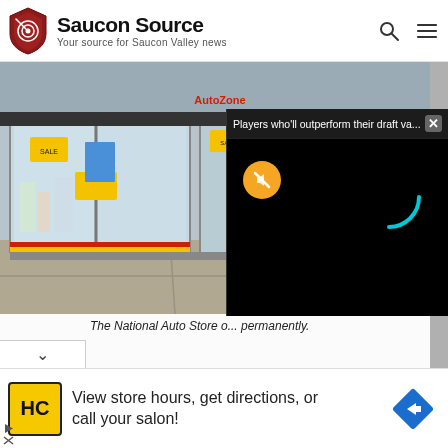Saucon Source — Your source for Saucon Valley news
[Figure (photo): Exterior of a National Auto Store with large glass windows showing products inside, including yellow sale signs and water jugs. Storefront viewed from sidewalk level.]
[Figure (screenshot): Video player overlay with title 'Players who'll outperform their draft va...' and a black video area with orange mute button and cyan loading spinner arc.]
The National Auto Store o... permanently.
[Figure (other): Advertisement banner: HC logo in yellow square, text 'View store hours, get directions, or call your salon!', blue diamond arrow icon on right.]